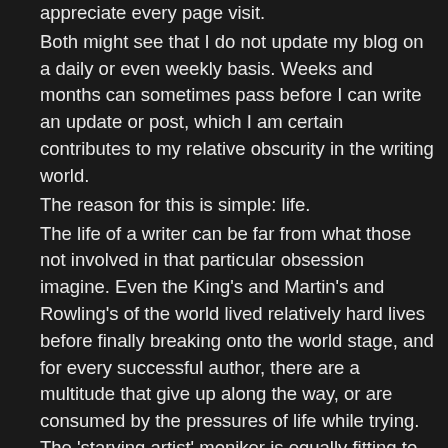appreciate every page visit. Both might see that I do not update my blog on a daily or even weekly basis. Weeks and months can sometimes pass before I can write an update or post, which I am certain contributes to my relative obscurity in the writing world. The reason for this is simple: life. The life of a writer can be far from what those not involved in that particular obsession imagine. Even the King's and Martin's and Rowling's of the world lived relatively hard lives before finally breaking onto the world stage, and for every successful author, there are a multitude that give up along the way, or are consumed by the pressures of life while trying. The 'starving artist' moniker is equally fitting to authors as they are to the painters and musicians who struggle to exist while also doing what they can to express their creative drive. It is not an easy path, and but a few ever make it past all the exhaustion, pain, and stress required to rise above the sea of mediocrity we are forced to consume on a daily basis. The struggle is long, fought with anxiety and worry, and so often unrewarding. This has made me wonder why we haven't seen any reality shows